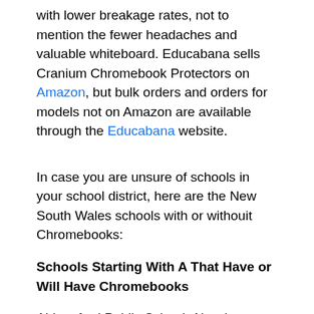with lower breakage rates, not to mention the fewer headaches and valuable whiteboard. Educabana sells Cranium Chromebook Protectors on Amazon, but bulk orders and orders for models not on Amazon are available through the Educabana website.
In case you are unsure of schools in your school district, here are the New South Wales schools with or withouit Chromebooks:
Schools Starting With A That Have or Will Have Chromebooks
Abbotsford Public School, Aberdeen Public School, Abermain Public School, Adaminaby Public School, Adamstown Public School, Adelong Public School, Afterlee Public School, Airds High School, Ajuga School, Albert Park Public School, Albion Park High